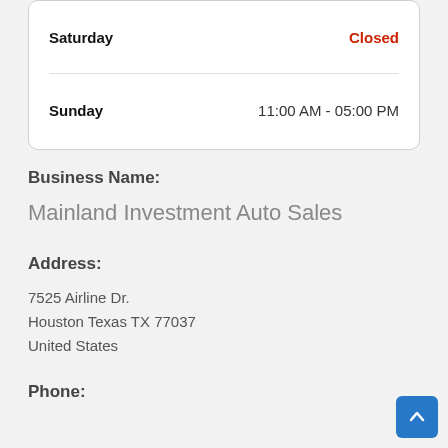| Day | Hours |
| --- | --- |
| Saturday | Closed |
| Sunday | 11:00 AM - 05:00 PM |
Business Name:
Mainland Investment Auto Sales
Address:
7525 Airline Dr.
Houston Texas TX 77037
United States
Phone: